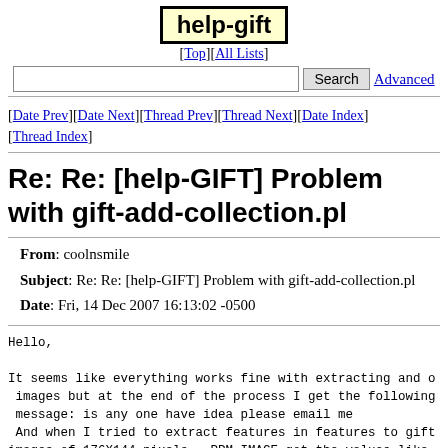help-gift
[Top][All Lists]
Search Advanced
[Date Prev][Date Next][Thread Prev][Thread Next][Date Index][Thread Index]
Re: Re: [help-GIFT] Problem with gift-add-collection.pl
| Field | Value |
| --- | --- |
| From | coolnsmile |
| Subject | Re: Re: [help-GIFT] Problem with gift-add-collection.pl |
| Date | Fri, 14 Dec 2007 16:13:02 -0500 |
Hello,

It seems like everything works fine with extracting and o images but at the end of the process I get the following message: is any one have idea please email me And when I tried to extract features in features to gift images of 176X144 pixels  .PPM IMAGE got the values like .tts_ADI files after indexing.